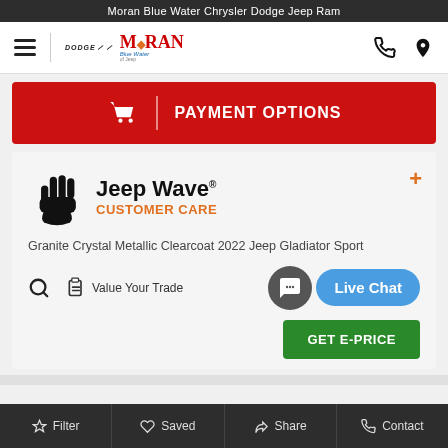Moran Blue Water Chrysler Dodge Jeep Ram
[Figure (logo): Dodge and Moran Blue Water dealer logo with hamburger menu, phone and location icons]
[Figure (infographic): Red Payment Options banner with shopping cart icon]
[Figure (logo): Jeep Wave Customer Care logo with hand icon]
Granite Crystal Metallic Clearcoat 2022 Jeep Gladiator Sport
Value Your Trade
[Figure (infographic): Live Chat button overlay with chat bubble icon]
[Figure (infographic): GET E-PRICE green button]
Filter  Saved  Share  Contact